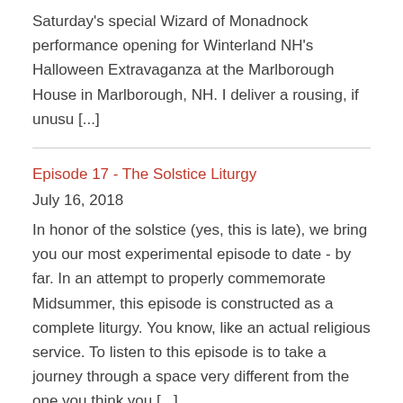Saturday's special Wizard of Monadnock performance opening for Winterland NH's Halloween Extravaganza at the Marlborough House in Marlborough, NH. I deliver a rousing, if unusu [...]
Episode 17 - The Solstice Liturgy
July 16, 2018
In honor of the solstice (yes, this is late), we bring you our most experimental episode to date - by far. In an attempt to properly commemorate Midsummer, this episode is constructed as a complete liturgy. You know, like an actual religious service. To listen to this episode is to take a journey through a space very different from the one you think you [...]